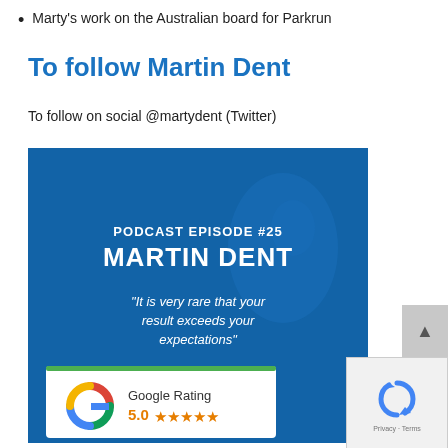Marty's work on the Australian board for Parkrun
To follow Martin Dent
To follow on social @martydent (Twitter)
[Figure (infographic): Podcast episode promotional image with blue background showing a runner. Text reads: PODCAST EPISODE #25, MARTIN DENT, "It is very rare that your result exceeds your expectations". Below is a Google Rating badge showing 5.0 with five gold stars.]